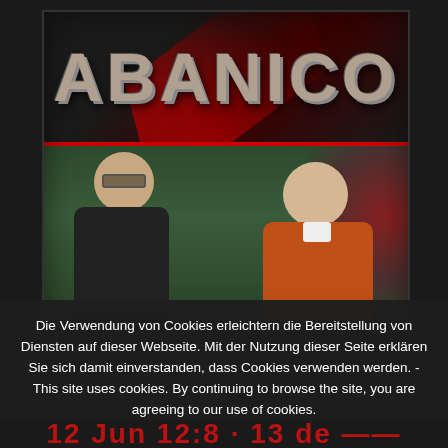[Figure (screenshot): Screenshot of a website called ABANICO showing a logo with large metallic 3D letters on a dark background with red geometric shapes, and below it a photo of two men (one in black, one in orange/red jacket) facing each other outdoors.]
Die Verwendung von Cookies erleichtern die Bereitstellung von Diensten auf dieser Webseite. Mit der Nutzung dieser Seite erklären Sie sich damit einverstanden, dass Cookies verwenden werden. - This site uses cookies. By continuing to browse the site, you are agreeing to our use of cookies.
OK
Mehr Informationen